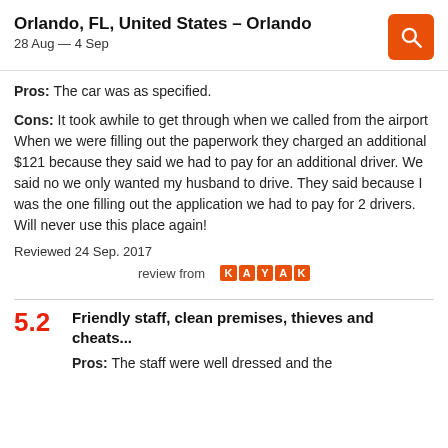Orlando, FL, United States – Orlando
28 Aug — 4 Sep
Pros: The car was as specified.
Cons: It took awhile to get through when we called from the airport When we were filling out the paperwork they charged an additional $121 because they said we had to pay for an additional driver. We said no we only wanted my husband to drive. They said because I was the one filling out the application we had to pay for 2 drivers. Will never use this place again!
Reviewed 24 Sep. 2017
review from KAYAK
5.2 — Friendly staff, clean premises, thieves and cheats...
Pros: The staff were well dressed and the